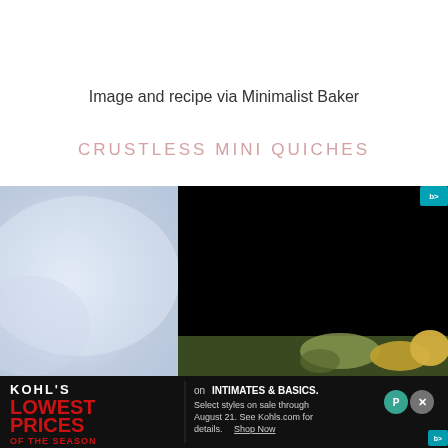Image and recipe via Minimalist Baker
CRUSTLESS MINI QUICHES
[Figure (photo): Photo of crustless mini quiches; left portion shows blurred light blue/white background, right portion shows a black video overlay with food visible at bottom right]
[Figure (other): Kohl's advertisement banner: KOHLS LOWEST PRICES OF THE SEASON on INTIMATES & BASICS. Select styles on sale through August 21. See Kohls.com for details. Shop Now. With close (x) and privacy (P) buttons.]